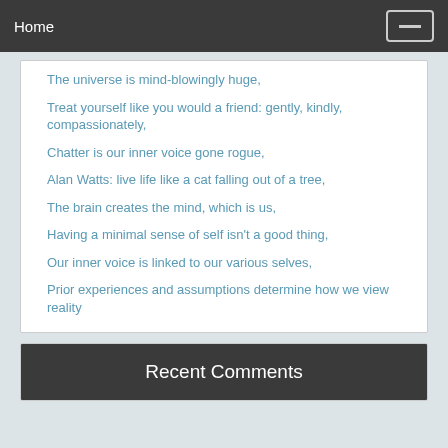Home
The universe is mind-blowingly huge,
Treat yourself like you would a friend: gently, kindly, compassionately,
Chatter is our inner voice gone rogue,
Alan Watts: live life like a cat falling out of a tree,
The brain creates the mind, which is us,
Having a minimal sense of self isn't a good thing,
Our inner voice is linked to our various selves,
Prior experiences and assumptions determine how we view reality
Recent Comments